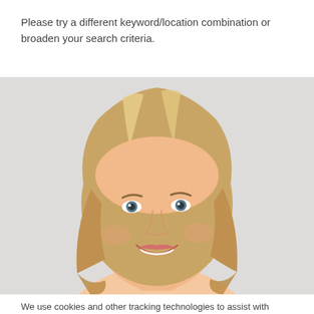Please try a different keyword/location combination or broaden your search criteria.
[Figure (photo): Professional headshot of a smiling blonde woman on a light grey background]
We use cookies and other tracking technologies to assist with navigation, improve our products and services, assist with our marketing efforts, and